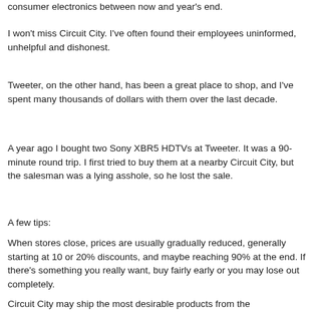consumer electronics between now and year's end.
I won't miss Circuit City. I've often found their employees uninformed, unhelpful and dishonest.
Tweeter, on the other hand, has been a great place to shop, and I've spent many thousands of dollars with them over the last decade.
A year ago I bought two Sony XBR5 HDTVs at Tweeter. It was a 90-minute round trip. I first tried to buy them at a nearby Circuit City, but the salesman was a lying asshole, so he lost the sale.
A few tips:
When stores close, prices are usually gradually reduced, generally starting at 10 or 20% discounts, and maybe reaching 90% at the end. If there's something you really want, buy fairly early or you may lose out completely.
Circuit City may ship the most desirable products from the closing stores to remaining stores when they are well from